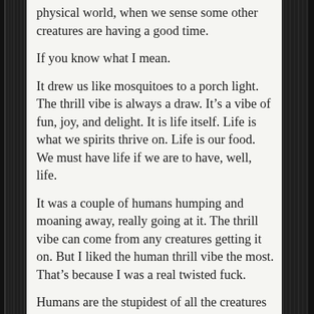physical world, when we sense some other creatures are having a good time.
If you know what I mean.
It drew us like mosquitoes to a porch light. The thrill vibe is always a draw. It's a vibe of fun, joy, and delight. It is life itself. Life is what we spirits thrive on. Life is our food. We must have life if we are to have, well, life.
It was a couple of humans humping and moaning away, really going at it. The thrill vibe can come from any creatures getting it on. But I liked the human thrill vibe the most. That's because I was a real twisted fuck.
Humans are the stupidest of all the creatures in the physical realm. And yet they're also the smartest. Humans are just really messed up. Like